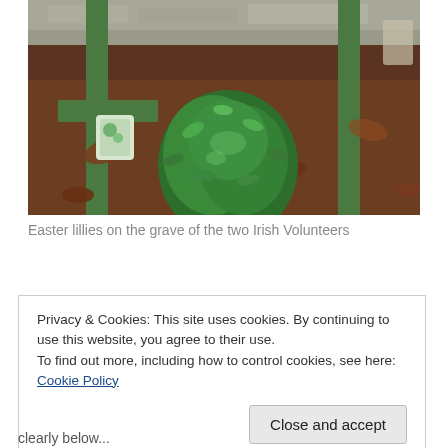[Figure (photo): A photograph showing Easter lillies (green plant with small leaves) on a grave with a green cross, surrounded by fallen brown leaves and a stone in the background.]
Easter lillies on the grave of the two Irish Volunteers
Privacy & Cookies: This site uses cookies. By continuing to use this website, you agree to their use.
To find out more, including how to control cookies, see here: Cookie Policy
Close and accept
clearly below...